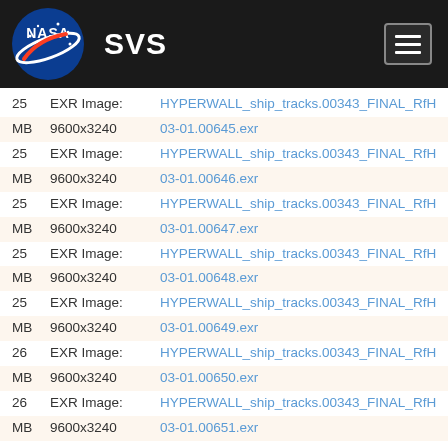NASA SVS
25  EXR Image:  HYPERWALL_ship_tracks.00343_FINAL_RfH24.3
MB  9600x3240  03-01.00645.exr
25  EXR Image:  HYPERWALL_ship_tracks.00343_FINAL_RfH24.3
MB  9600x3240  03-01.00646.exr
25  EXR Image:  HYPERWALL_ship_tracks.00343_FINAL_RfH24.3
MB  9600x3240  03-01.00647.exr
25  EXR Image:  HYPERWALL_ship_tracks.00343_FINAL_RfH24.3
MB  9600x3240  03-01.00648.exr
25  EXR Image:  HYPERWALL_ship_tracks.00343_FINAL_RfH24.3
MB  9600x3240  03-01.00649.exr
26  EXR Image:  HYPERWALL_ship_tracks.00343_FINAL_RfH24.3
MB  9600x3240  03-01.00650.exr
26  EXR Image:  HYPERWALL_ship_tracks.00343_FINAL_RfH24.3
MB  9600x3240  03-01.00651.exr
26  EXR Image:  HYPERWALL_ship_tracks.00343_FINAL_RfH24.3
MB  9600x3240  03-01.00652.exr
26  EXR Image:  HYPERWALL_ship_tracks.00343_FINAL_RfH24.3
MB  9600x3240  03-01.00653.exr
26  EXR Image:  HYPERWALL_ship_tracks.00343_FINAL_RfH24.3